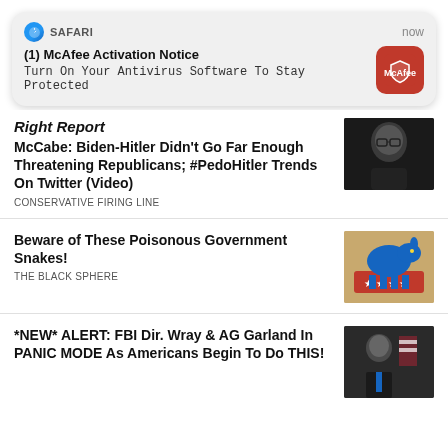[Figure (screenshot): Safari browser notification: (1) McAfee Activation Notice - Turn On Your Antivirus Software To Stay Protected, with McAfee red icon, timestamped 'now']
Right Report
McCabe: Biden-Hitler Didn't Go Far Enough Threatening Republicans; #PedoHitler Trends On Twitter (Video)
CONSERVATIVE FIRING LINE
Beware of These Poisonous Government Snakes!
THE BLACK SPHERE
*NEW* ALERT: FBI Dir. Wray & AG Garland In PANIC MODE As Americans Begin To Do THIS!